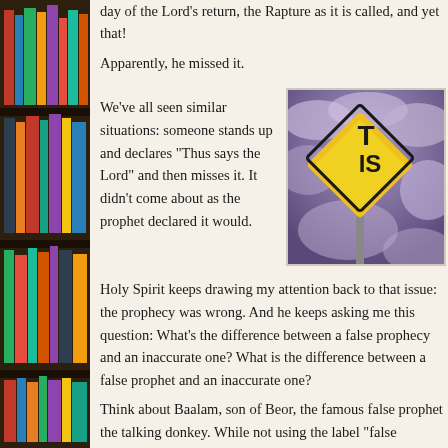[Figure (photo): Bookshelf filled with colorful books on the left side of the page]
day of the Lord's return, the Rapture as it is called, and yet that!
Apparently, he missed it.
We've all seen similar situations: someone stands up and declares "Thus says the Lord" and then misses it. It didn't come about as the prophet declared it would.
[Figure (photo): A yellow warning sign with partial text 'T' and 'IS' visible against a dramatic cloudy sky background]
Holy Spirit keeps drawing my attention back to that issue: the prophecy was wrong. And he keeps asking me this question: What's the difference between a false prophecy and an inaccurate one? What is the difference between a false prophet and an inaccurate one?
Think about Baalam, son of Beor, the famous false prophet the talking donkey. While not using the label "false prophet, (see 2 Peter 2:15, Jude 1:11, and Revelation 2:14) the...